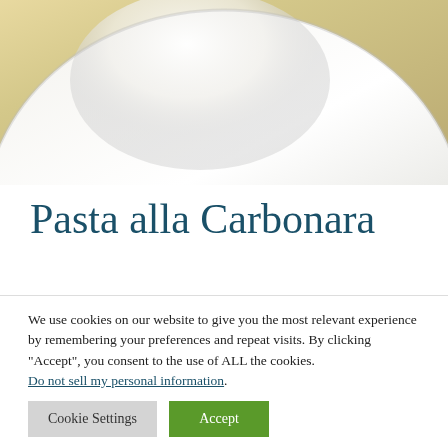[Figure (photo): Close-up photo of a white ceramic plate with pasta, showing creamy light tones and soft texture in the upper portion of the image.]
Pasta alla Carbonara
We use cookies on our website to give you the most relevant experience by remembering your preferences and repeat visits. By clicking “Accept”, you consent to the use of ALL the cookies. Do not sell my personal information.
Cookie Settings   Accept